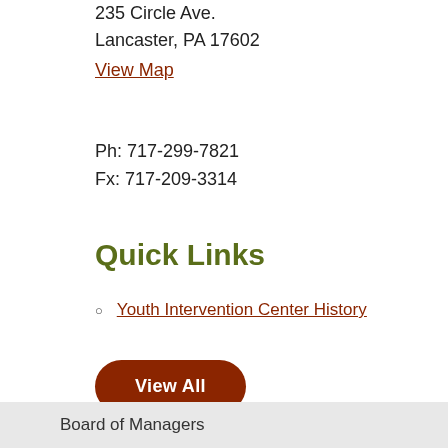235 Circle Ave.
Lancaster, PA 17602
View Map
Ph: 717-299-7821
Fx: 717-209-3314
Quick Links
Youth Intervention Center History
View All
Board of Managers